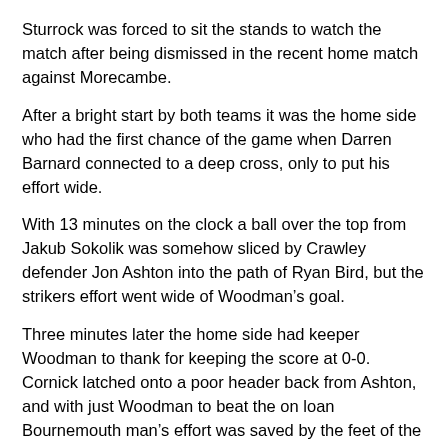Sturrock was forced to sit the stands to watch the match after being dismissed in the recent home match against Morecambe.
After a bright start by both teams it was the home side who had the first chance of the game when Darren Barnard connected to a deep cross, only to put his effort wide.
With 13 minutes on the clock a ball over the top from Jakub Sokolik was somehow sliced by Crawley defender Jon Ashton into the path of Ryan Bird, but the strikers effort went wide of Woodman’s goal.
Three minutes later the home side had keeper Woodman to thank for keeping the score at 0-0. Cornick latched onto a poor header back from Ashton, and with just Woodman to beat the on loan Bournemouth man’s effort was saved by the feet of the shot stopper to save Ashton’s blushes.
Just before the half hour mark Town took the lead thanks to an unstoppable shot from Cornick. The loanee picked up a pass from Dolan, he then cut in from the left wing to unleash a shot that left Woodman with no chance as it nestled into the top corner of the net.